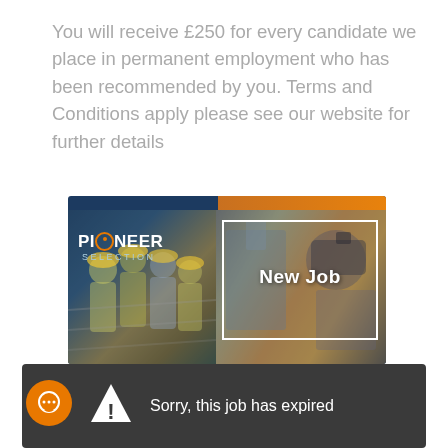You will receive £250 for every candidate we place in permanent employment who has been recommended by you. Terms and Conditions apply please see our website for further details
[Figure (illustration): Pioneer Selection recruitment agency banner image showing construction workers on the left and machinery/equipment on the right with 'New Job' text overlay and white border rectangle]
Sorry, this job has expired